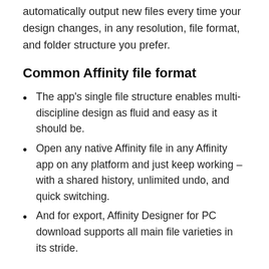automatically output new files every time your design changes, in any resolution, file format, and folder structure you prefer.
Common Affinity file format
The app's single file structure enables multi-discipline design as fluid and easy as it should be.
Open any native Affinity file in any Affinity app on any platform and just keep working – with a shared history, unlimited undo, and quick switching.
And for export, Affinity Designer for PC download supports all main file varieties in its stride.